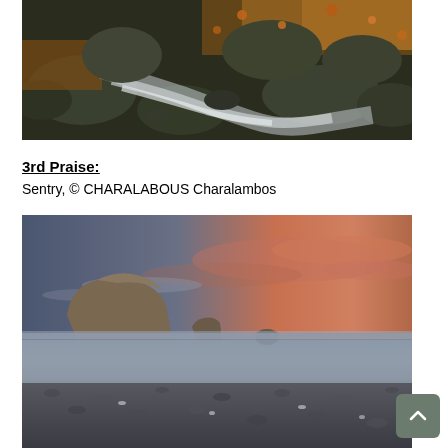[Figure (photo): Autumn forest stream with rocks and fallen orange leaves, long-exposure water flowing over mossy boulders]
3rd Praise:
Sentry, © CHARALABOUS Charalambos
[Figure (photo): Coastal sunset scene with large rock formation in calm long-exposure sea, pebbly beach in foreground, orange and pink sky]
[Figure (other): Scroll-to-top button with upward chevron arrow]